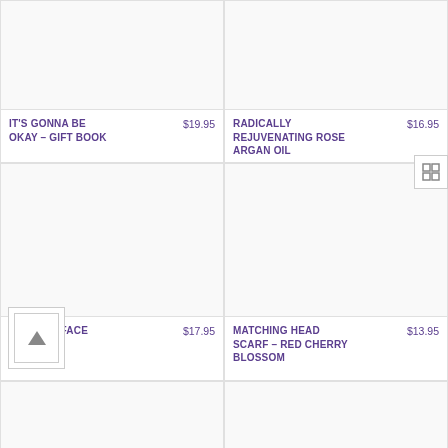IT'S GONNA BE OKAY – GIFT BOOK  $19.95
RADICALLY REJUVENATING ROSE ARGAN OIL  $16.95
[Figure (other): Product image placeholder for Organic Face Serum]
ORGANIC FACE SERUM  $17.95
[Figure (other): Product image placeholder for Matching Head Scarf – Red Cherry Blossom]
MATCHING HEAD SCARF – RED CHERRY BLOSSOM  $13.95